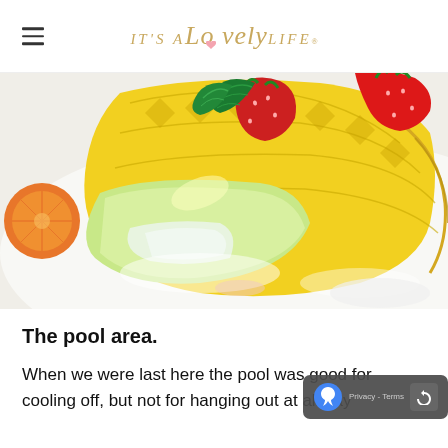IT'S A Lovely LIFE
[Figure (photo): Close-up photo of tropical fruit including pineapple slices, orange/mandarin slices, mint leaves, strawberries, and melon on a white plate]
The pool area.
When we were last here the pool was good for cooling off, but not for hanging out at all day